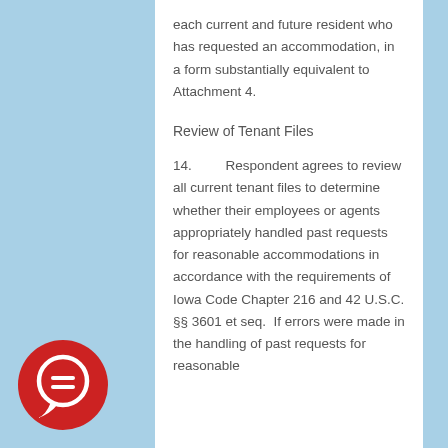each current and future resident who has requested an accommodation, in a form substantially equivalent to Attachment 4.
Review of Tenant Files
14.        Respondent agrees to review all current tenant files to determine whether their employees or agents appropriately handled past requests for reasonable accommodations in accordance with the requirements of Iowa Code Chapter 216 and 42 U.S.C. §§ 3601 et seq.  If errors were made in the handling of past requests for reasonable